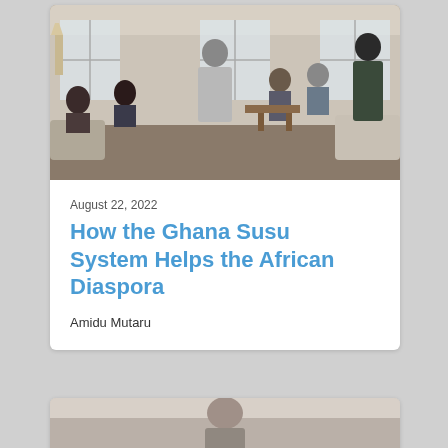[Figure (photo): Indoor gathering scene showing multiple people in a living room setting, viewed from behind, with windows and white furniture visible.]
August 22, 2022
How the Ghana Susu System Helps the African Diaspora
Amidu Mutaru
[Figure (photo): Partial view of a second article card showing a photo at the bottom of the page.]